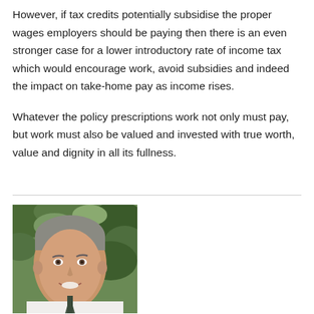However, if tax credits potentially subsidise the proper wages employers should be paying then there is an even stronger case for a lower introductory rate of income tax which would encourage work, avoid subsidies and indeed the impact on take-home pay as income rises.
Whatever the policy prescriptions work not only must pay, but work must also be valued and invested with true worth, value and dignity in all its fullness.
[Figure (photo): Headshot photograph of a middle-aged man with short grey hair, smiling, wearing a white shirt and dark tie, with green trees/foliage in the background.]